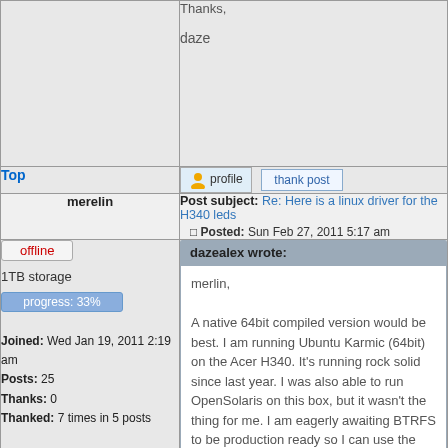Thanks,

daze
Top
profile
thank post
merelin
Post subject: Re: Here is a linux driver for the H340 leds
Posted: Sun Feb 27, 2011 5:17 am
offline
1TB storage
progress: 33%
Joined: Wed Jan 19, 2011 2:19 am
Posts: 25
Thanks: 0
Thanked: 7 times in 5 posts
dazealex wrote:

merlin,

A native 64bit compiled version would be best. I am running Ubuntu Karmic (64bit) on the Acer H340. It's running rock solid since last year. I was also able to run OpenSolaris on this box, but it wasn't the thing for me. I am eagerly awaiting BTRFS to be production ready so I can use the compression abilities it provides. ZFS is nice, and can also be run